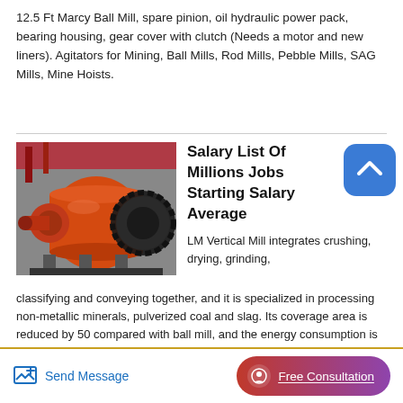12.5 Ft Marcy Ball Mill, spare pinion, oil hydraulic power pack, bearing housing, gear cover with clutch (Needs a motor and new liners). Agitators for Mining, Ball Mills, Rod Mills, Pebble Mills, SAG Mills, Mine Hoists.
[Figure (photo): Orange/red Marcy ball mill industrial grinding machine with large gear ring and cylindrical drum, mounted on a steel base in an industrial facility.]
Salary List Of Millions Jobs Starting Salary Average
LM Vertical Mill integrates crushing, drying, grinding, classifying and conveying together, and it is specialized in processing non-metallic minerals, pulverized coal and slag. Its coverage area is reduced by 50 compared with ball mill, and the energy consumption is saved by 30 -40 similarly.
Send Message | Free Consultation